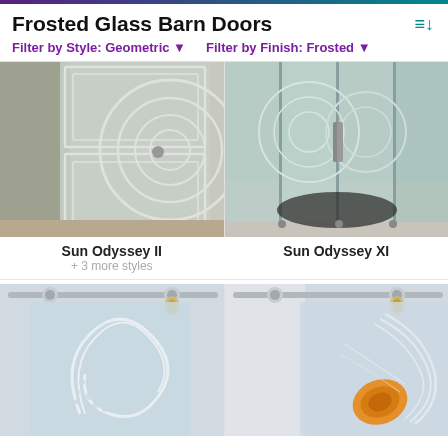Frosted Glass Barn Doors
Filter by Style: Geometric ▼    Filter by Finish: Frosted ▼
[Figure (photo): Frosted glass barn door with circular geometric etching pattern - Sun Odyssey II]
[Figure (photo): Frosted glass sliding door panels with geometric circular pattern in bathroom/shower - Sun Odyssey XI]
Sun Odyssey II
+ 3 more styles
Sun Odyssey XI
[Figure (photo): Frosted glass barn door on sliding track hardware with swirling etched pattern]
[Figure (photo): Frosted glass barn door on sliding track hardware with feather/bird etched pattern]